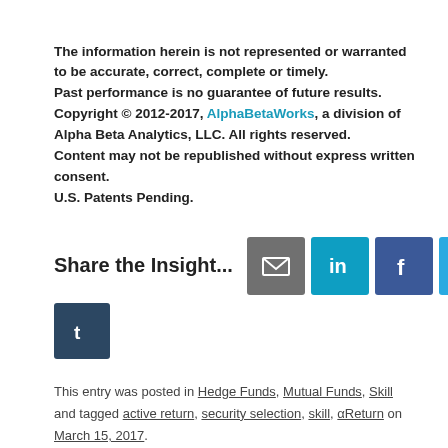The information herein is not represented or warranted to be accurate, correct, complete or timely.
Past performance is no guarantee of future results.
Copyright © 2012-2017, AlphaBetaWorks, a division of Alpha Beta Analytics, LLC. All rights reserved.
Content may not be republished without express written consent.
U.S. Patents Pending.
[Figure (infographic): Social share buttons: email, LinkedIn, Facebook, Twitter, Tumblr with label 'Share the Insight...']
This entry was posted in Hedge Funds, Mutual Funds, Skill and tagged active return, security selection, skill, αReturn on March 15, 2017.